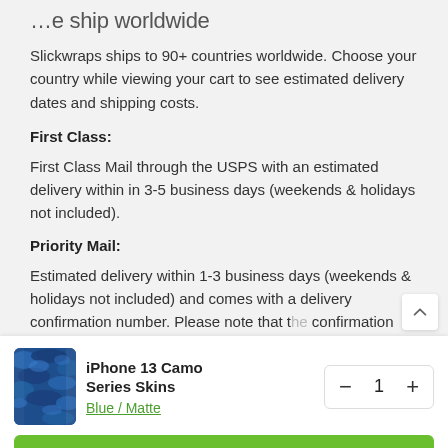…e ship worldwide
Slickwraps ships to 90+ countries worldwide. Choose your country while viewing your cart to see estimated delivery dates and shipping costs.
First Class:
First Class Mail through the USPS with an estimated delivery within in 3-5 business days (weekends & holidays not included).
Priority Mail:
Estimated delivery within 1-3 business days (weekends & holidays not included) and comes with a delivery confirmation number. Please note that the confirmation number is not a tracking number and
[Figure (photo): iPhone 13 Camo Series Skin product thumbnail showing blue camouflage pattern]
iPhone 13 Camo Series Skins
Blue / Matte